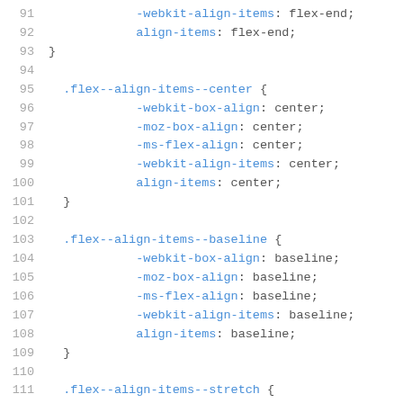[Figure (screenshot): Code listing showing CSS flex alignment utility classes, lines 91-113, with line numbers in gray and CSS property names/selectors in blue on white background.]